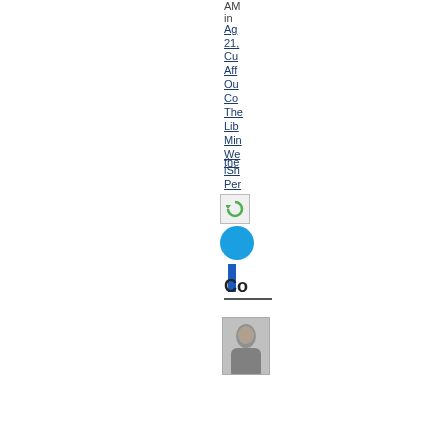AM in
Ag... 21,
Cu...
Aff...
Ou...
Co...
The...
Lib...
Min...
We...
the...
iSh...
Per...
[Figure (other): Refresh/reload button icon and social share icons (circle and bar)]
Co
[Figure (photo): Small portrait photo of a person]